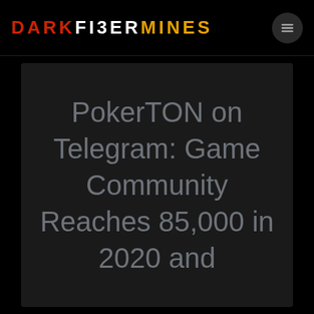DARKFIBERMINES
PokerTON on Telegram: Game Community Reaches 85,000 in 2020 and